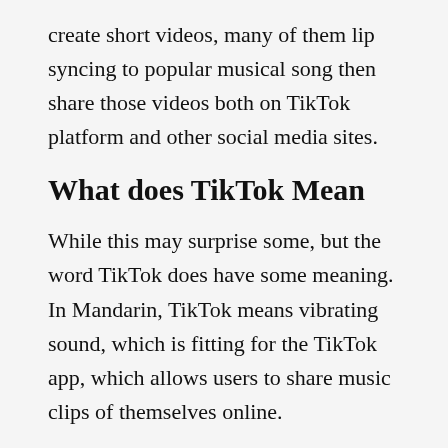create short videos, many of them lip syncing to popular musical song then share those videos both on TikTok platform and other social media sites.
What does TikTok Mean
While this may surprise some, but the word TikTok does have some meaning. In Mandarin, TikTok means vibrating sound, which is fitting for the TikTok app, which allows users to share music clips of themselves online.
Is TikTok Safe?